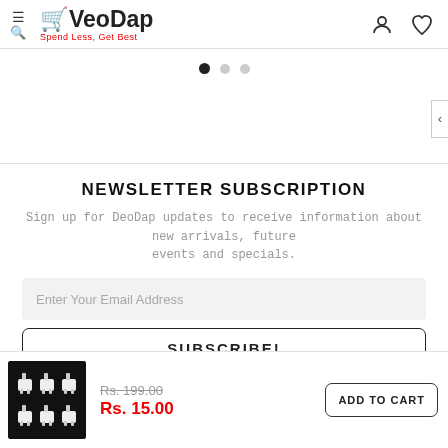DeoDap - Spend Less, Get Best
[Figure (screenshot): Carousel pagination dots: one active (black), two inactive (grey)]
NEWSLETTER SUBSCRIPTION
Sign up for DeoDap updates to receive information about new arrivals, future events and specials.
Enter Your Email Address
SUBSCRIBE!
[Figure (photo): Product image showing white wall plugs/bolts on black background]
Rs. 199.00  Rs. 15.00  ADD TO CART